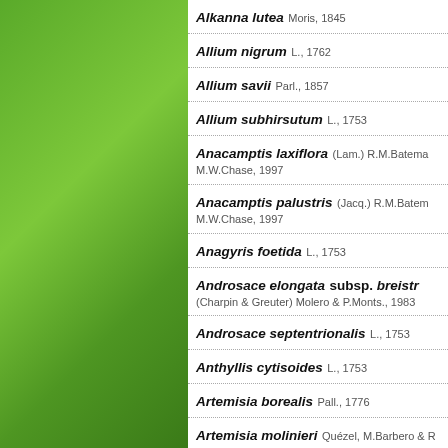[Figure (illustration): Green gradient decorative panel on left side of page]
Alkanna lutea Moris, 1845
Allium nigrum L., 1762
Allium savii Parl., 1857
Allium subhirsutum L., 1753
Anacamptis laxiflora (Lam.) R.M.Bateman, M.W.Chase, 1997
Anacamptis palustris (Jacq.) R.M.Bateman, M.W.Chase, 1997
Anagyris foetida L., 1753
Androsace elongata subsp. breistr (Charpin & Greuter) Molero & P.Monts., 1983
Androsace septentrionalis L., 1753
Anthyllis cytisoides L., 1753
Artemisia borealis Pall., 1776
Artemisia molinieri Quézel, M.Barbero & R...
Arundo donaciformis (Loisel.) Hardion, V... B.Vilà, 2012